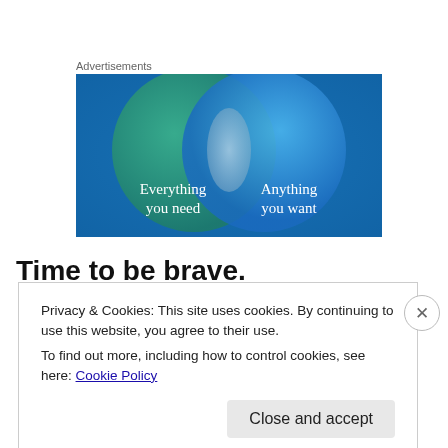Advertisements
[Figure (illustration): Advertisement banner showing a Venn diagram with two overlapping circles on a teal/blue gradient background. Left circle is green-teal with text 'Everything you need'. Right circle is blue with text 'Anything you want'. The overlapping area is a lighter color.]
Time to be brave.
Privacy & Cookies: This site uses cookies. By continuing to use this website, you agree to their use.
To find out more, including how to control cookies, see here: Cookie Policy
Close and accept